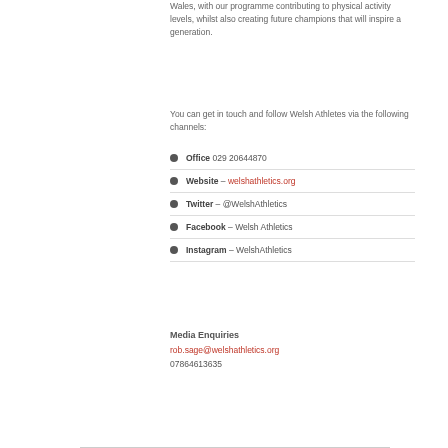Wales, with our programme contributing to physical activity levels, whilst also creating future champions that will inspire a generation.
You can get in touch and follow Welsh Athletes via the following channels:
Office 029 20644870
Website – welshathletics.org
Twitter – @WelshAthletics
Facebook – Welsh Athletics
Instagram – WelshAthletics
Media Enquiries
rob.sage@welshathletics.org
07864613635